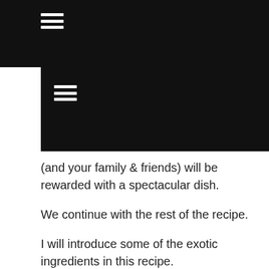[Figure (other): Black navigation bar with hamburger menu icon at top of page]
[Figure (other): Second black navigation bar with hamburger menu icon]
(and your family & friends) will be rewarded with a spectacular dish.
We continue with the rest of the recipe.
I will introduce some of the exotic ingredients in this recipe.
The ginger flower or torch bud is beautiful both in appearance and taste. Used in Nonya and Malay cooking, it also goes by Bunga Kantan. If you are a sophisticated biologist, you call it etlingera elatior. If you are a plain Joe - like myself - you can just call it the "Rojak flower." It